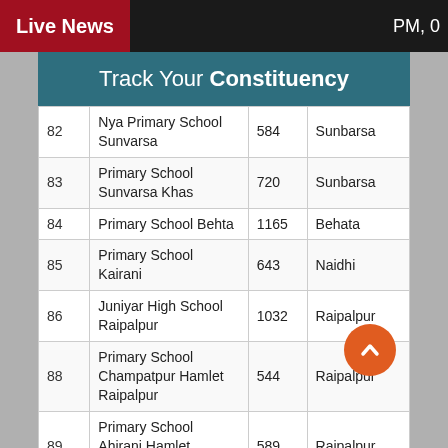Live News   PM, 0
Track Your Constituency
| # | School Name | Voters | Area |
| --- | --- | --- | --- |
| 82 | Nya Primary School Sunvarsa | 584 | Sunbarsa |
| 83 | Primary School Sunvarsa Khas | 720 | Sunbarsa |
| 84 | Primary School Behta | 1165 | Behata |
| 85 | Primary School Kairani | 643 | Naidhi |
| 86 | Juniyar High School Raipalpur | 1032 | Raipalpur |
| 88 | Primary School Champatpur Hamlet Raipalpur | 544 | Raipalpur |
| 89 | Primary School Ahirani Hamlet Raipalpur | 589 | Raipalpur |
| 90 | Primary School Sabalpur Bithur | 428 | Sabalpur Bithoor |
| 91 | Primary School Rampur Gajra | 700 | Rampura |
| 92 | Primary School Ant | 701 | Ant |
| 93 | Primary School Bhagvantpur Hamlet Ant | 327 | Ant |